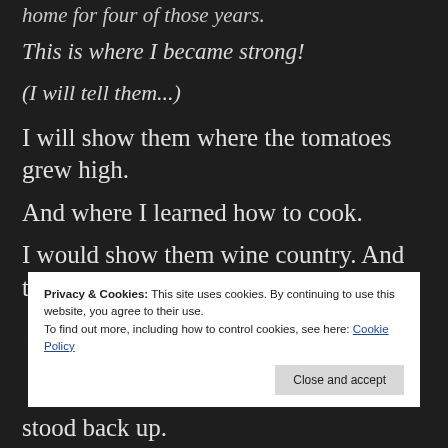home for four of those years.
This is where I became strong!
(I will tell them...)
I will show them where the tomatoes grew high.
And where I learned how to cook.
I would show them wine country. And the coast.
Privacy & Cookies: This site uses cookies. By continuing to use this website, you agree to their use.
To find out more, including how to control cookies, see here: Cookie Policy
Close and accept
stood back up.